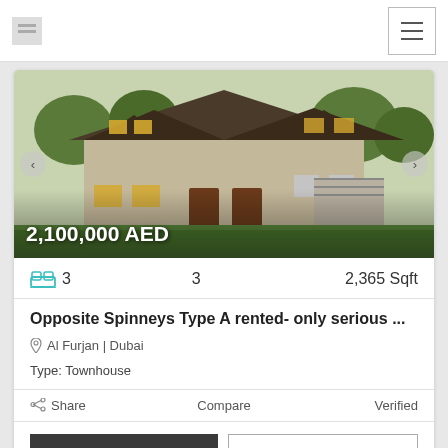Logo | Navigation menu
[Figure (photo): Exterior photo of a large two-story residential house with stone facade, illuminated windows, porch, and green lawn]
2,100,000 AED
3  3  2,365 Sqft
Opposite Spinneys Type A rented- only serious ...
Al Furjan | Dubai
Type: Townhouse
Share  Compare  Verified
CALL  EMAIL
[Figure (photo): Interior photo peek - dark toned room partially visible at bottom of page]